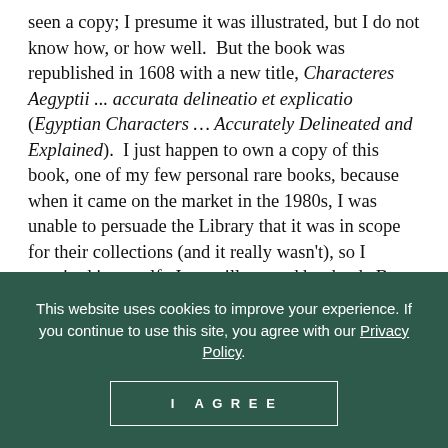seen a copy; I presume it was illustrated, but I do not know how, or how well. But the book was republished in 1608 with a new title, Characteres Aegyptii ... accurata delineatio et explicatio (Egyptian Characters … Accurately Delineated and Explained). I just happen to own a copy of this book, one of my few personal rare books, because when it came on the market in the 1980s, I was unable to persuade the Library that it was in scope for their collections (and it really wasn't), so I acquired it myself. It was illustrated by the de Bry brothers of Frankfurt, sons of the master engraver Theodor de Bry, and superb engravers themselves. Two engravings show details of the
This website uses cookies to improve your experience. If you continue to use this site, you agree with our Privacy Policy.